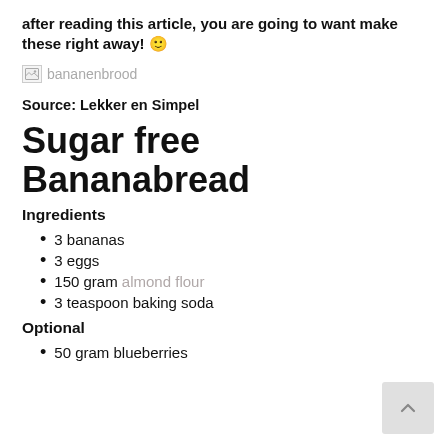after reading this article, you are going to want make these right away! 🙂
[Figure (other): Broken image placeholder labeled 'bananenbrood']
Source: Lekker en Simpel
Sugar free Bananabread
Ingredients
3 bananas
3 eggs
150 gram almond flour
3 teaspoon baking soda
Optional
50 gram blueberries